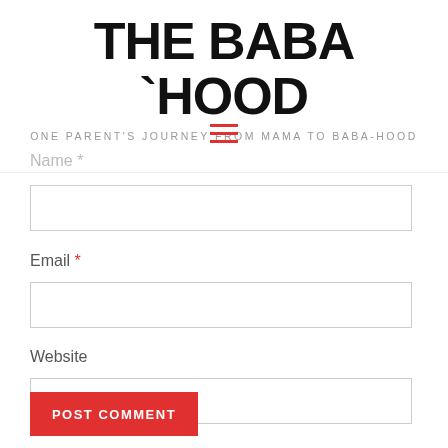THE BABA `HOOD
ONE PARENT'S JOURNEY FROM MAMA TO BABA-HOOD
[Figure (other): Hamburger menu icon with three red horizontal lines]
Name *
Email *
Website
POST COMMENT